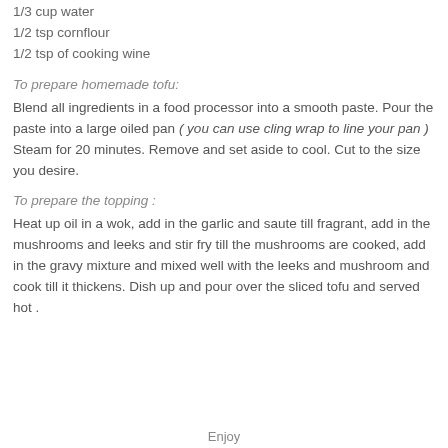1/3 cup water
1/2 tsp cornflour
1/2 tsp of cooking wine
To prepare homemade tofu:
Blend all ingredients in a food processor into a smooth paste. Pour the paste into a large oiled pan ( you can use cling wrap to line your pan ) Steam for 20 minutes. Remove and set aside to cool. Cut to the size you desire.
To prepare the topping :
Heat up oil in a wok, add in the garlic and saute till fragrant, add in the mushrooms and leeks and stir fry till the mushrooms are cooked, add in the gravy mixture and mixed well with the leeks and mushroom and cook till it thickens. Dish up and pour over the sliced tofu and served hot .
Enjoy